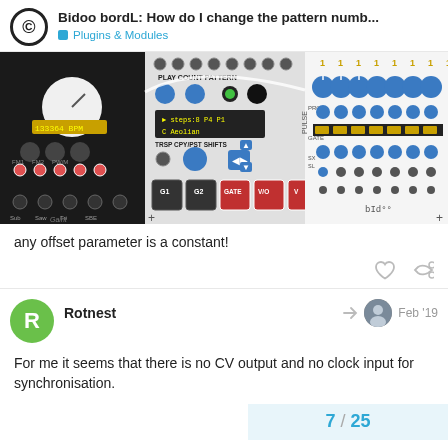Bidoo bordL: How do I change the pattern numb... — Plugins & Modules
[Figure (screenshot): Screenshot of a VCV Rack synthesizer patch with a sequencer module (bordL) showing PLAY, COUNT, PATTERN controls, steps:8 P4 P1, C Aeolian, TRSP CPY/PST SHIFTS, G1 G2 GATE V/O V, and a grid of blue knobs with yellow gate bars on a white panel labeled bId]
any offset parameter is a constant!
Rotnest
Feb '19
For me it seems that there is no CV output and no clock input for synchronisation.
7 / 25